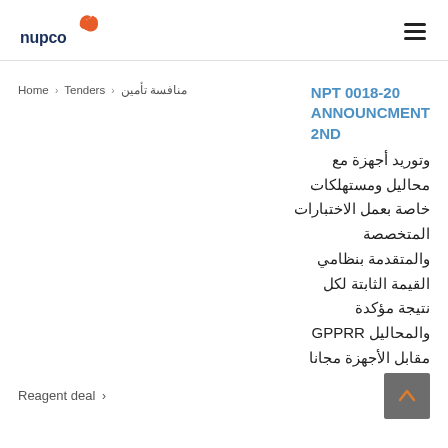[Figure (logo): Nupco logo with orange chain-link icon and dark blue 'nupco' text]
Home › Tenders › منافسة تأمين
NPT 0018-20 ANNOUNCMENT 2ND
وتوريد أجهزة مع محاليل ومستهلكات خاصة بعمل الاختبارات المتخصصة والمتقدمة بنظامي القيمة الثابتة لكل نتيجة مؤكدة والمحاليل GPPRR مقابل الأجهزة مجانا
Reagent deal ›